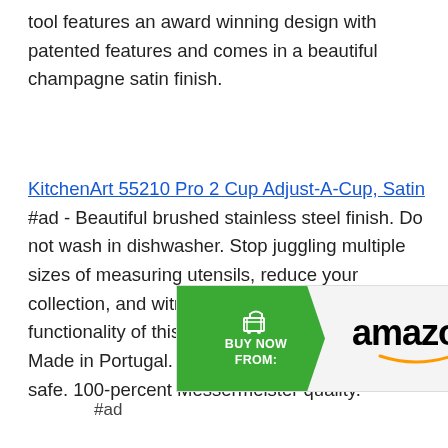tool features an award winning design with patented features and comes in a beautiful champagne satin finish.
KitchenArt 55210 Pro 2 Cup Adjust-A-Cup, Satin #ad - Beautiful brushed stainless steel finish. Do not wash in dishwasher. Stop juggling multiple sizes of measuring utensils, reduce your collection, and witness the space-saving functionality of this useful, yet elegant tool. Made in Portugal. Peelers are NOT Dishwasher safe. 100-percent Messermeister quality.
[Figure (other): Amazon Buy Now button banner with green arrow shape containing shopping cart icon and BUY NOW FROM: text, followed by amazon logo with orange arrow, and #ad label]